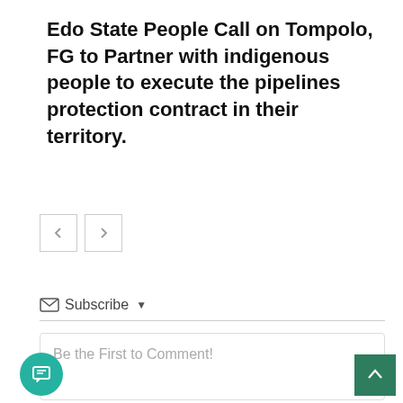Edo State People Call on Tompolo, FG to Partner with indigenous people to execute the pipelines protection contract in their territory.
[Figure (other): Navigation previous and next arrow buttons]
Subscribe
Be the First to Comment!
[Figure (other): Floating chat button (teal circle with chat icon)]
[Figure (other): Scroll to top button (dark green square with up arrow)]